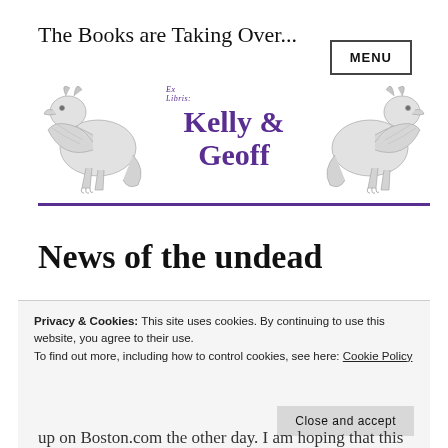The Books are Taking Over...
[Figure (logo): Banner with two heraldic griffins flanking 'Ex Libris: KELLY & GEOFF' text in purple, with a purple horizontal rule below]
News of the undead
Privacy & Cookies: This site uses cookies. By continuing to use this website, you agree to their use. To find out more, including how to control cookies, see here: Cookie Policy
up on Boston.com the other day. I am hoping that this